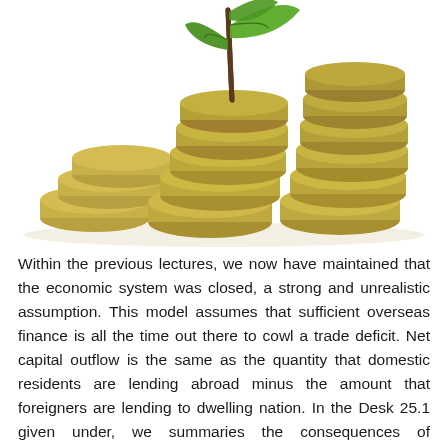[Figure (photo): A pile of gold/brass coins stacked in increasing height from left to right, with a green plant seedling growing out of the top center of the coin pile, against a white background.]
Within the previous lectures, we now have maintained that the economic system was closed, a strong and unrealistic assumption. This model assumes that sufficient overseas finance is all the time out there to cowl a trade deficit. Net capital outflow is the same as the quantity that domestic residents are lending abroad minus the amount that foreigners are lending to dwelling nation. In the Desk 25.1 given under, we summaries the consequences of adjustments in